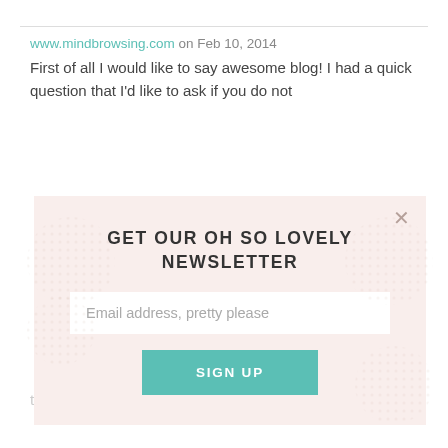www.mindbrowsing.com on Feb 10, 2014
First of all I would like to say awesome blog! I had a quick question that I'd like to ask if you do not
[Figure (screenshot): Newsletter signup modal popup with light pink background, title 'GET OUR OH SO LOVELY NEWSLETTER', email input field, and teal SIGN UP button]
meme on Mar 20, 2014
Magnificent beat ! I wish to apprentice while you amend your web site, how can i subscribe for a blog web site? The account helped me a acceptable deal. I had been a little bit familiar of this your broadcast provided vivid transparent concept.